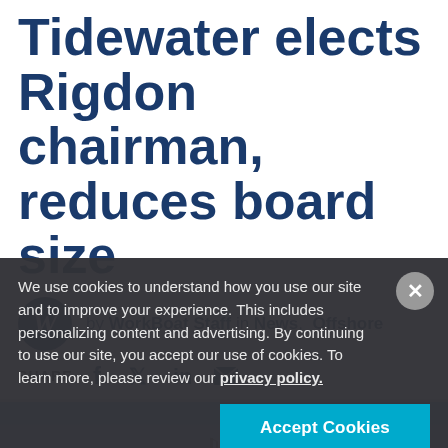Tidewater elects Rigdon chairman, reduces board size
by WorkBoat Staff in News, Offshore
SHARE
[Figure (photo): Offshore vessel or platform silhouette against blue sky, partially visible behind cookie consent overlay]
We use cookies to understand how you use our site and to improve your experience. This includes personalizing content and advertising. By continuing to use our site, you accept our use of cookies. To learn more, please review our privacy policy.
Accept Cookies